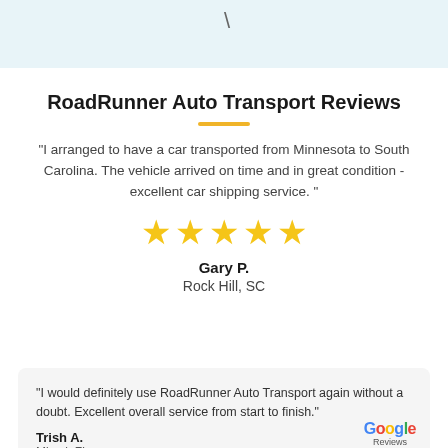\
RoadRunner Auto Transport Reviews
"I arranged to have a car transported from Minnesota to South Carolina. The vehicle arrived on time and in great condition - excellent car shipping service. "
[Figure (other): Five gold star rating icons]
Gary P.
Rock Hill, SC
"I would definitely use RoadRunner Auto Transport again without a doubt. Excellent overall service from start to finish."
Trish A.
Miami, FL
[Figure (logo): Google Reviews logo with star rating]